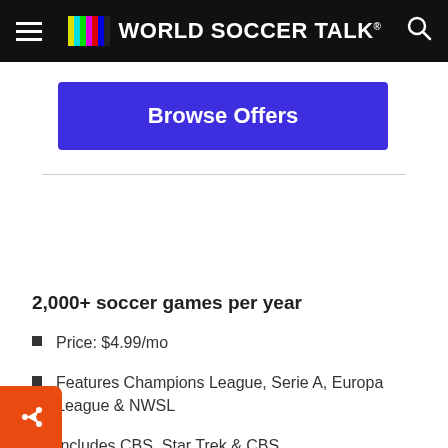World Soccer Talk
Browse Offers
2,000+ soccer games per year
Price: $4.99/mo
Features Champions League, Serie A, Europa League & NWSL
Includes CBS, Star Trek & CBS